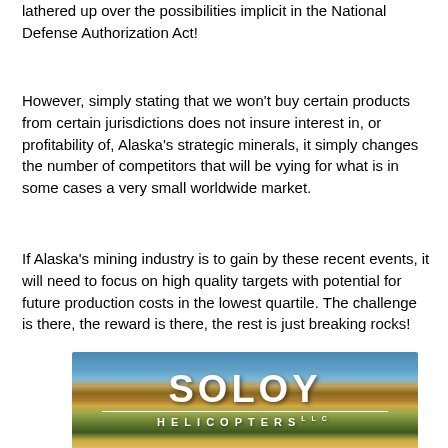lathered up over the possibilities implicit in the National Defense Authorization Act!
However, simply stating that we won't buy certain products from certain jurisdictions does not insure interest in, or profitability of, Alaska's strategic minerals, it simply changes the number of competitors that will be vying for what is in some cases a very small worldwide market.
If Alaska's mining industry is to gain by these recent events, it will need to focus on high quality targets with potential for future production costs in the lowest quartile. The challenge is there, the reward is there, the rest is just breaking rocks!
[Figure (logo): Soloy Helicopters logo banner with mountain landscape background showing autumn foliage. Large white bold text 'SOLOY' with '—HELICOPTERS—' beneath it on a scenic Alaska mountain backdrop.]